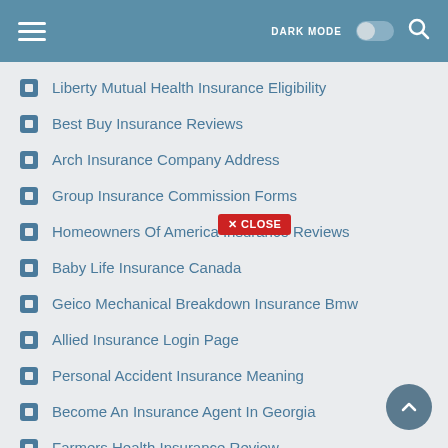DARK MODE [toggle] [search]
Liberty Mutual Health Insurance Eligibility
Best Buy Insurance Reviews
Arch Insurance Company Address
Group Insurance Commission Forms
Homeowners Of America Insurance Reviews
Baby Life Insurance Canada
Geico Mechanical Breakdown Insurance Bmw
Allied Insurance Login Page
Personal Accident Insurance Meaning
Become An Insurance Agent In Georgia
Farmers Health Insurance Review
Citizens Home Insurance Phone Number